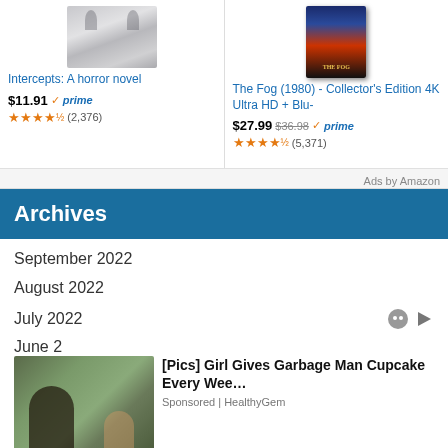[Figure (screenshot): Amazon ad for 'Intercepts: A horror novel' showing book cover with ghostly hands, price $11.91 with Prime badge, 4.5 stars, (2,376) reviews]
[Figure (screenshot): Amazon ad for 'The Fog (1980) - Collector's Edition 4K Ultra HD + Blu-' showing movie box art, price $27.99 (was $36.98) with Prime badge, 4.5 stars, (5,371) reviews]
Ads by Amazon
Archives
September 2022
August 2022
July 2022
June 2
May 2
[Figure (photo): Native ad photo showing a man and young girl smiling outdoors]
[Pics] Girl Gives Garbage Man Cupcake Every Wee…
Sponsored | HealthyGem